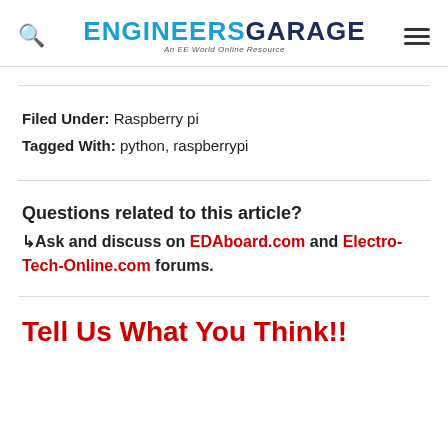ENGINEERS GARAGE - An EE World Online Resource
Filed Under: Raspberry pi
Tagged With: python, raspberrypi
Questions related to this article?
↳Ask and discuss on EDAboard.com and Electro-Tech-Online.com forums.
Tell Us What You Think!!